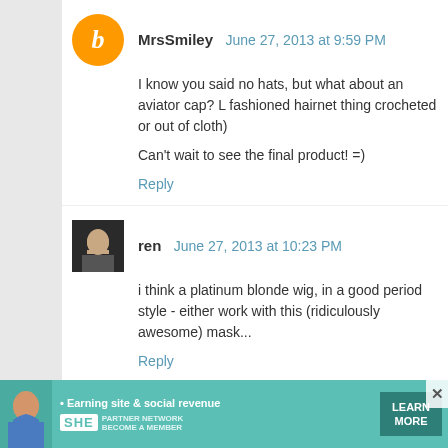MrsSmiley June 27, 2013 at 9:59 PM
I know you said no hats, but what about an aviator cap? L fashioned hairnet thing crocheted or out of cloth)
Can't wait to see the final product! =)
Reply
ren June 27, 2013 at 10:23 PM
i think a platinum blonde wig, in a good period style - either work with this (ridiculously awesome) mask...
Reply
Seana Kelsey June 27, 2013 at 11:32 PM
I personally vote for the snood or a hooded cape, I think mask not distract from it.
On a side note (and I apologize if you have covered it b form it was in when you first got it. I really admire Mer with my husband and we have many of the tools. it's t
[Figure (infographic): Advertisement banner for SHE Partner Network - Earning site & social revenue, with Learn More button and close X]